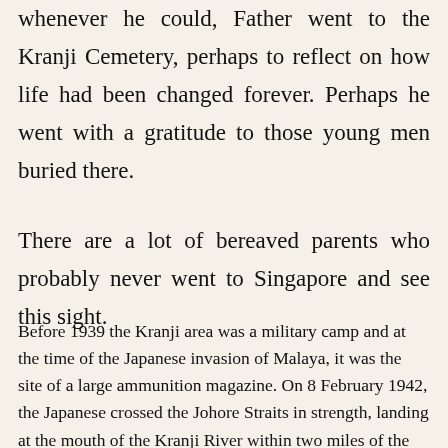whenever he could, Father went to the Kranji Cemetery, perhaps to reflect on how life had been changed forever. Perhaps he went with a gratitude to those young men buried there.
There are a lot of bereaved parents who probably never went to Singapore and see this sight.
Before 1939 the Kranji area was a military camp and at the time of the Japanese invasion of Malaya, it was the site of a large ammunition magazine. On 8 February 1942, the Japanese crossed the Johore Straits in strength, landing at the mouth of the Kranji River within two miles of the place where the war cemetery now stands. On the evening of 9 February, they launched an attack between the river and the causeway. During the next few days, fierce fighting ensued, in many cases hand to hand, until their greatly